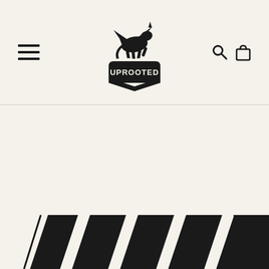Uprooted — website navigation header with logo, menu icon, search and cart icons
[Figure (logo): Uprooted brand logo: a black silhouette of a pegasus unicorn above a black banner badge reading UPROOTED in white text]
[Figure (photo): Bottom portion of a black and white striped awning or canopy visible at the bottom of the page, with poles/supports at the sides]